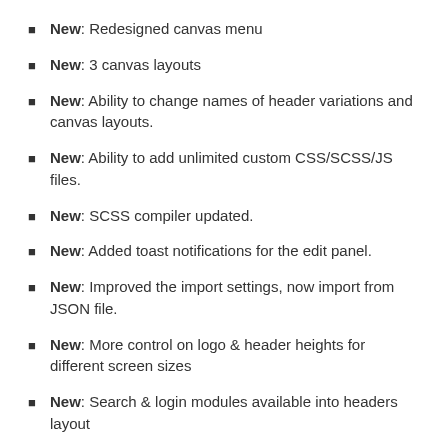New: Redesigned canvas menu
New: 3 canvas layouts
New: Ability to change names of header variations and canvas layouts.
New: Ability to add unlimited custom CSS/SCSS/JS files.
New: SCSS compiler updated.
New: Added toast notifications for the edit panel.
New: Improved the import settings, now import from JSON file.
New: More control on logo & header heights for different screen sizes
New: Search & login modules available into headers layout
New: Option to enable or disable FontAwesome.
New: Ability to edit preFix: defined presets.